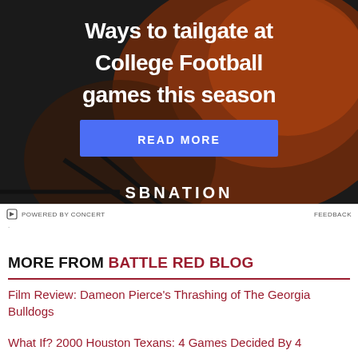[Figure (photo): Advertisement banner showing grilled meat on a barbecue grill with text 'Ways to tailgate at College Football games this season', a blue READ MORE button, and SBNATION logo at bottom. Footer shows 'POWERED BY CONCERT' and 'FEEDBACK'.]
MORE FROM BATTLE RED BLOG
Film Review: Dameon Pierce's Thrashing of The Georgia Bulldogs
What If? 2000 Houston Texans: 4 Games Decided By 4